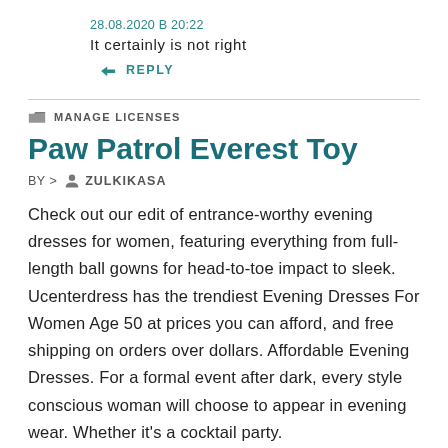28.08.2020 В 20:22
It certainly is not right
↳ REPLY
MANAGE LICENSES
Paw Patrol Everest Toy
BY > ZULKIKASA
Check out our edit of entrance-worthy evening dresses for women, featuring everything from full-length ball gowns for head-to-toe impact to sleek. Ucenterdress has the trendiest Evening Dresses For Women Age 50 at prices you can afford, and free shipping on orders over dollars. Affordable Evening Dresses. For a formal event after dark, every style conscious woman will choose to appear in evening wear. Whether it's a cocktail party.